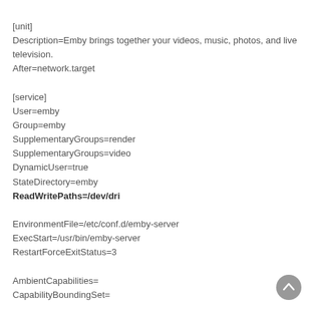[unit]
Description=Emby brings together your videos, music, photos, and live television.
After=network.target

[service]
User=emby
Group=emby
SupplementaryGroups=render
SupplementaryGroups=video
DynamicUser=true
StateDirectory=emby
ReadWritePaths=/dev/dri

EnvironmentFile=/etc/conf.d/emby-server
ExecStart=/usr/bin/emby-server
RestartForceExitStatus=3

AmbientCapabilities=
CapabilityBoundingSet=